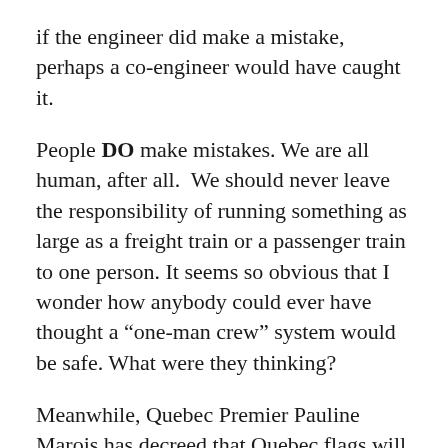if the engineer did make a mistake, perhaps a co-engineer would have caught it.
People DO make mistakes. We are all human, after all.  We should never leave the responsibility of running something as large as a freight train or a passenger train to one person. It seems so obvious that I wonder how anybody could ever have thought a “one-man crew” system would be safe. What were they thinking?
Meanwhile, Quebec Premier Pauline Marois has decreed that Quebec flags will fly at half-staff for a week, starting Thursday. It will also fly at half-staff in this blog.